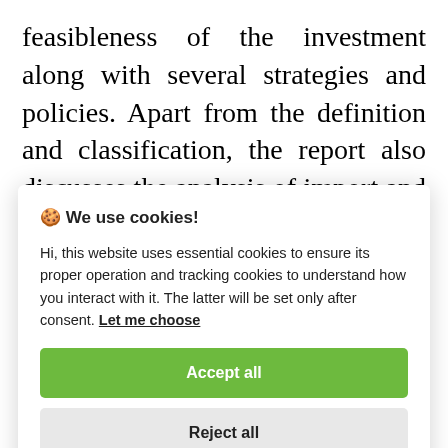feasibleness of the investment along with several strategies and policies. Apart from the definition and classification, the report also discusses the analysis of import and export and describes a
🍪 We use cookies!

Hi, this website uses essential cookies to ensure its proper operation and tracking cookies to understand how you interact with it. The latter will be set only after consent. Let me choose

[Accept all] [Reject all]
proves to be very beneficial for fresh